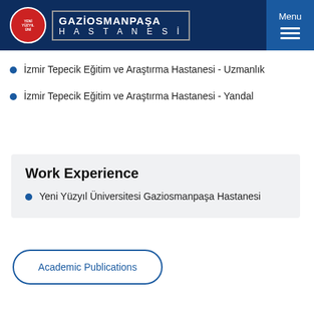[Figure (logo): Gaziosmanpaşa Hastanesi hospital logo with red circular emblem and white text on dark navy background]
İzmir Tepecik Eğitim ve Araştırma Hastanesi - Uzmanlık
İzmir Tepecik Eğitim ve Araştırma Hastanesi - Yandal
Work Experience
Yeni Yüzyıl Üniversitesi Gaziosmanpaşa Hastanesi
Academic Publications